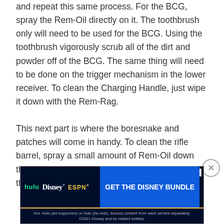and repeat this same process. For the BCG, spray the Rem-Oil directly on it. The toothbrush only will need to be used for the BCG. Using the toothbrush vigorously scrub all of the dirt and powder off of the BCG. The same thing will need to be done on the trigger mechanism in the lower receiver. To clean the Charging Handle, just wipe it down with the Rem-Rag.
This next part is where the boresnake and patches will come in handy. To clean the rifle barrel, spray a small amount of Rem-Oil down the barrel. Then get the boresnake and run it through the barrel multiple times. A boresnake
[Figure (other): Advertisement banner for the Disney Bundle (Hulu, Disney+, ESPN+). Dark navy background with logos and 'GET THE DISNEY BUNDLE' call to action button in blue. Small print reads: Incl. Hulu (ad-supported) or Hulu (No Ads). Access content from each service separately. ©2021 Disney and its related entities.]